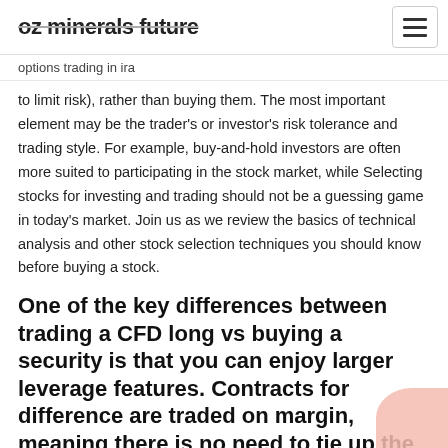oz minerals future
options trading in ira
to limit risk), rather than buying them. The most important element may be the trader's or investor's risk tolerance and trading style. For example, buy-and-hold investors are often more suited to participating in the stock market, while Selecting stocks for investing and trading should not be a guessing game in today's market. Join us as we review the basics of technical analysis and other stock selection techniques you should know before buying a stock.
One of the key differences between trading a CFD long vs buying a security is that you can enjoy larger leverage features. Contracts for difference are traded on margin, meaning there is no need to tie up the